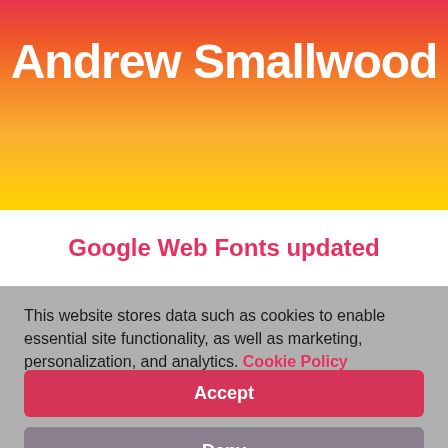Andrew Smallwood
TIMELINE
BLOG
Google Web Fonts updated
This website stores data such as cookies to enable essential site functionality, as well as marketing, personalization, and analytics. Cookie Policy
Accept
Deny